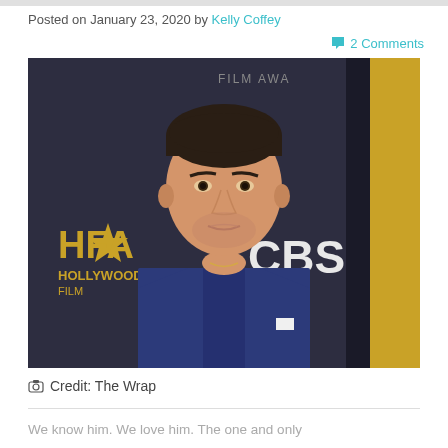Posted on January 23, 2020 by Kelly Coffey
💬 2 Comments
[Figure (photo): A man in a navy blue suit with a navy tie and white dress shirt, standing in front of a backdrop with HFA Hollywood Film Awards and CBS logos. He has short dark hair and facial stubble.]
📷 Credit: The Wrap
We know him. We love him. The one and only